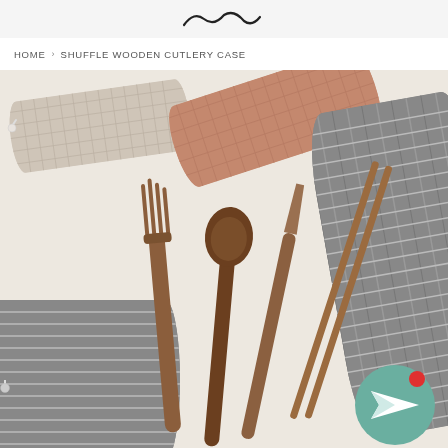HOME › SHUFFLE WOODEN CUTLERY CASE
[Figure (photo): Product photo showing wooden cutlery set (fork, spoon, knife, chopsticks) laid on a cream surface next to fabric zipper pouches in beige grid, rust/pink grid, and grey stripe patterns. A teal chat button with a red dot and paper plane icon appears in the bottom right corner.]